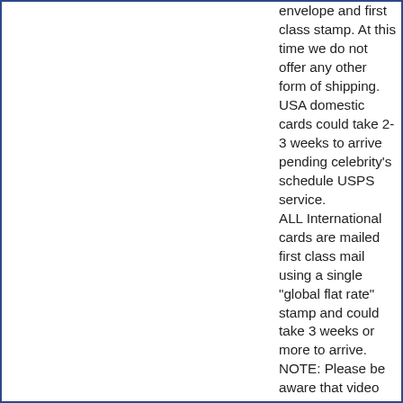envelope and first class stamp. At this time we do not offer any other form of shipping. USA domestic cards could take 2-3 weeks to arrive pending celebrity's schedule USPS service. ALL International cards are mailed first class mail using a single "global flat rate" stamp and could take 3 weeks or more to arrive. NOTE: Please be aware that video messages are created when the celebrity has time, they do not "drop everything they are doing" to record your message. If the celebrity is working on a film or TV series it could delay the creation and delivery of your video. We ask that you be patient and TRY to place your video order well in